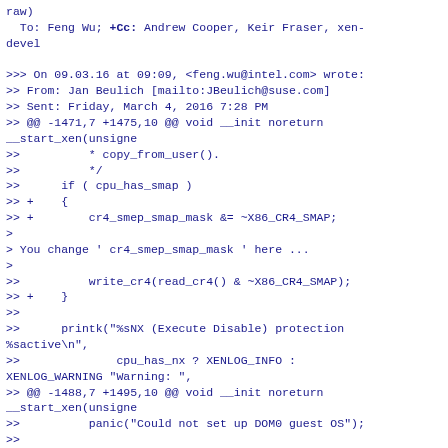raw)
  To: Feng Wu; +Cc: Andrew Cooper, Keir Fraser, xen-devel

>>> On 09.03.16 at 09:09, <feng.wu@intel.com> wrote:
>> From: Jan Beulich [mailto:JBeulich@suse.com]
>> Sent: Friday, March 4, 2016 7:28 PM
>> @@ -1471,7 +1475,10 @@ void __init noreturn __start_xen(unsigne
>>          * copy_from_user().
>>          */
>>      if ( cpu_has_smap )
>> +    {
>> +        cr4_smep_smap_mask &= ~X86_CR4_SMAP;
>
> You change ' cr4_smep_smap_mask ' here ...
>
>>          write_cr4(read_cr4() & ~X86_CR4_SMAP);
>> +    }
>>
>>      printk("%sNX (Execute Disable) protection %sactive\n",
>>              cpu_has_nx ? XENLOG_INFO : XENLOG_WARNING "Warning: ",
>> @@ -1488,7 +1495,10 @@ void __init noreturn __start_xen(unsigne
>>          panic("Could not set up DOM0 guest OS");
>>
>>      if ( cpu_has_smap )
>> +    {